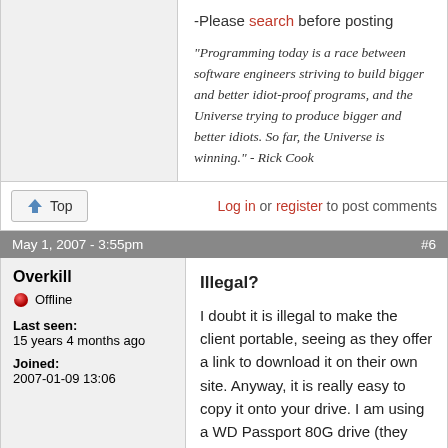-Please search before posting
"Programming today is a race between software engineers striving to build bigger and better idiot-proof programs, and the Universe trying to produce bigger and better idiots. So far, the Universe is winning." - Rick Cook
Top | Log in or register to post comments
May 1, 2007 - 3:55pm   #6
Overkill
Offline
Last seen: 15 years 4 months ago
Joined: 2007-01-09 13:06
Illegal?
I doubt it is illegal to make the client portable, seeing as they offer a link to download it on their own site. Anyway, it is really easy to copy it onto your drive. I am using a WD Passport 80G drive (they are small, fast, and USB powered) and have simply copied the install out of the program files folder. Make sure you delete the patch files out of the folder on the drive, unless